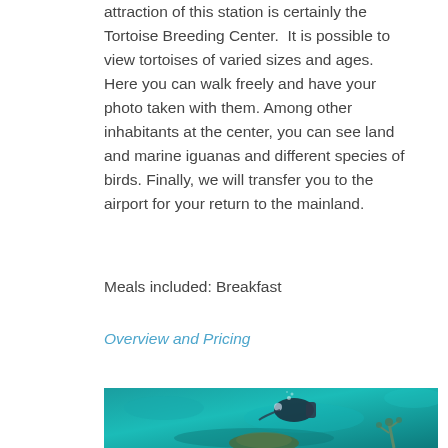attraction of this station is certainly the Tortoise Breeding Center. It is possible to view tortoises of varied sizes and ages. Here you can walk freely and have your photo taken with them. Among other inhabitants at the center, you can see land and marine iguanas and different species of birds. Finally, we will transfer you to the airport for your return to the mainland.
Meals included: Breakfast
Overview and Pricing
[Figure (photo): Underwater photograph of a scuba diver in black wetsuit with equipment, swimming near coral and a sea turtle in blue-green water.]